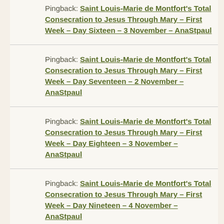Pingback: Saint Louis-Marie de Montfort's Total Consecration to Jesus Through Mary – First Week – Day Sixteen – 3 November – AnaStpaul
Pingback: Saint Louis-Marie de Montfort's Total Consecration to Jesus Through Mary – First Week – Day Seventeen – 2 November – AnaStpaul
Pingback: Saint Louis-Marie de Montfort's Total Consecration to Jesus Through Mary – First Week – Day Eighteen – 3 November – AnaStpaul
Pingback: Saint Louis-Marie de Montfort's Total Consecration to Jesus Through Mary – First Week – Day Nineteen – 4 November – AnaStpaul
Pingback: Saint Louis-Marie de Montfort's Total Consecration to Jesus Through Mary – Second Week –